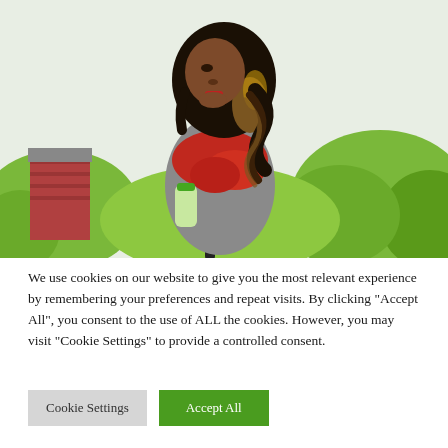[Figure (photo): A woman with curly dark hair with highlights, wearing a grey top, red patterned scarf, and black backpack strap, holding a green-capped glass bottle, standing outdoors with green bushes and a brick building in the background.]
We use cookies on our website to give you the most relevant experience by remembering your preferences and repeat visits. By clicking “Accept All”, you consent to the use of ALL the cookies. However, you may visit "Cookie Settings" to provide a controlled consent.